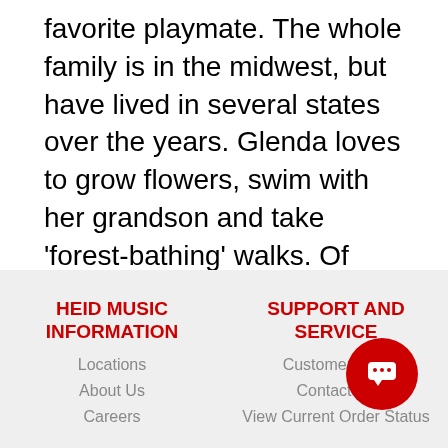favorite playmate. The whole family is in the midwest, but have lived in several states over the years. Glenda loves to grow flowers, swim with her grandson and take 'forest-bathing' walks. Of course, she loves to hear music whether in lessons or on the stage.
HEID MUSIC INFORMATION
Locations
About Us
Careers
SUPPORT AND SERVICE
Customer Service
Contact Us
View Current Order Status